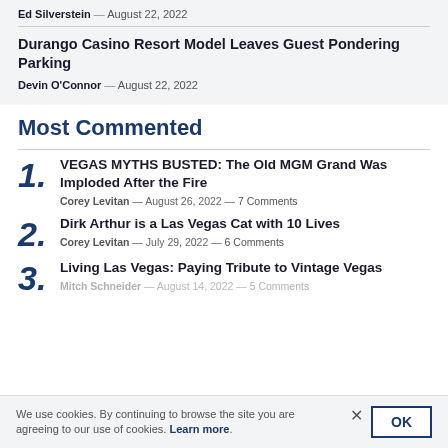Ed Silverstein — August 22, 2022
Durango Casino Resort Model Leaves Guest Pondering Parking
Devin O'Connor — August 22, 2022
Most Commented
1. VEGAS MYTHS BUSTED: The Old MGM Grand Was Imploded After the Fire — Corey Levitan — August 26, 2022 — 7 Comments
2. Dirk Arthur is a Las Vegas Cat with 10 Lives — Corey Levitan — July 29, 2022 — 6 Comments
3. Living Las Vegas: Paying Tribute to Vintage Vegas — Mitch Schneider — August 14, 2022 — 5 Comments
We use cookies. By continuing to browse the site you are agreeing to our use of cookies. Learn more.